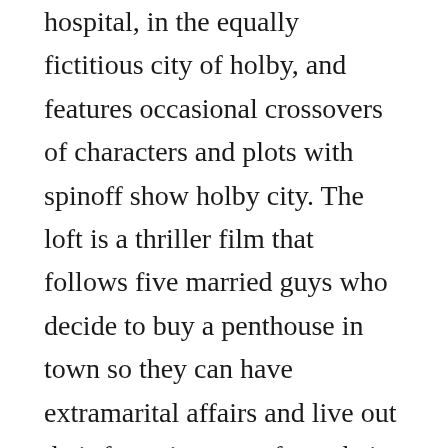hospital, in the equally fictitious city of holby, and features occasional crossovers of characters and plots with spinoff show holby city. The loft is a thriller film that follows five married guys who decide to buy a penthouse in town so they can have extramarital affairs and live out their fantasies away from their wives.
Chal mera putt explores the struggles they face, the lasting friendships they make and the challenges they overcome all whilst trying to get their pr. Film booking offices of america fbo, also known as fbo pictures corporation